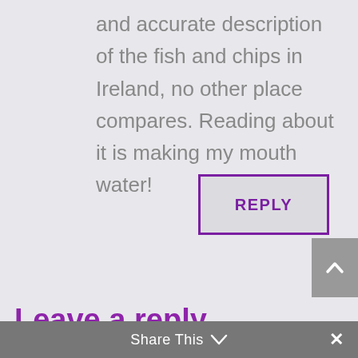and accurate description of the fish and chips in Ireland, no other place compares. Reading about it is making my mouth water!
REPLY
Leave a reply
Your email address will not be published. Required fields are marked *
Share This ∨  ✕